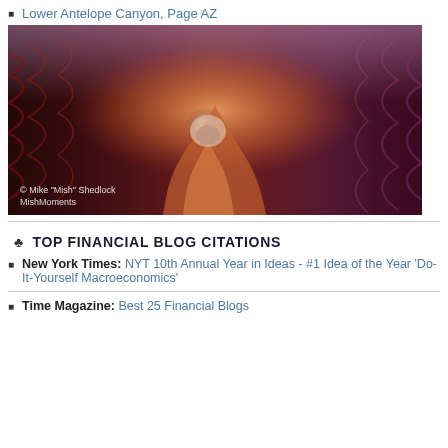Lower Antelope Canyon, Page AZ
[Figure (photo): Photograph of Lower Antelope Canyon, Page AZ. Narrow slot canyon interior with dramatic red, orange, and purple sandstone walls with smooth flowing curves. Watermark reads: © Mike "Mish" Shedlock MishMoments]
♣ TOP FINANCIAL BLOG CITATIONS
New York Times: NYT 10th Annual Year in Ideas - #1 Idea of the Year 'Do-It-Yourself Macroeconomics'
Time Magazine: Best 25 Financial Blogs